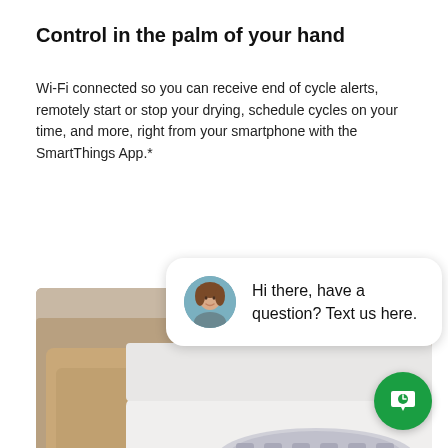Control in the palm of your hand
Wi-Fi connected so you can receive end of cycle alerts, remotely start or stop your drying, schedule cycles on your time, and more, right from your smartphone with the SmartThings App.*
[Figure (screenshot): Screenshot of a Samsung appliance product page showing a person loading laundry into a top-load washing machine, overlaid with a chat widget popup saying 'Hi there, have a question? Text us here.' with a woman's avatar photo, a close button in the top right, and a green chat icon button in the bottom right.]